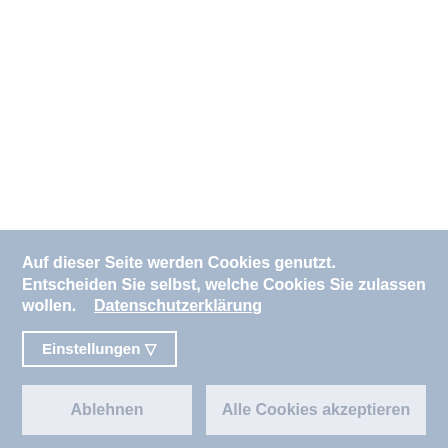[Figure (screenshot): White upper area of a webpage, content obscured]
Auf dieser Seite werden Cookies genutzt. Entscheiden Sie selbst, welche Cookies Sie zulassen wollen.    Datenschutzerklärung
Einstellungen ▽
Ablehnen
Alle Cookies akzeptieren